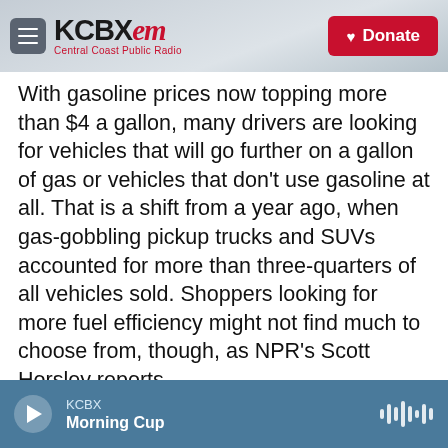KCBX FM — Central Coast Public Radio | Donate
With gasoline prices now topping more than $4 a gallon, many drivers are looking for vehicles that will go further on a gallon of gas or vehicles that don't use gasoline at all. That is a shift from a year ago, when gas-gobbling pickup trucks and SUVs accounted for more than three-quarters of all vehicles sold. Shoppers looking for more fuel efficiency might not find much to choose from, though, as NPR's Scott Horsley reports.
SCOTT HORSLEY, BYLINE: Laurie Silvia (ph) needs a new car. Her 2008 Ford Explorer is showing its age, and filling its 22-gallon gas tank is a drain on
KCBX | Morning Cup